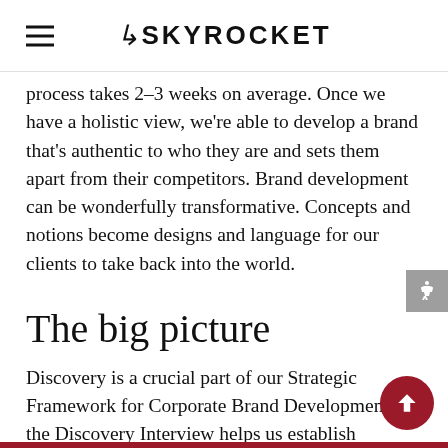SKYROCKET
process takes 2–3 weeks on average. Once we have a holistic view, we're able to develop a brand that's authentic to who they are and sets them apart from their competitors. Brand development can be wonderfully transformative. Concepts and notions become designs and language for our clients to take back into the world.
The big picture
Discovery is a crucial part of our Strategic Framework for Corporate Brand Development and the Discovery Interview helps us establish